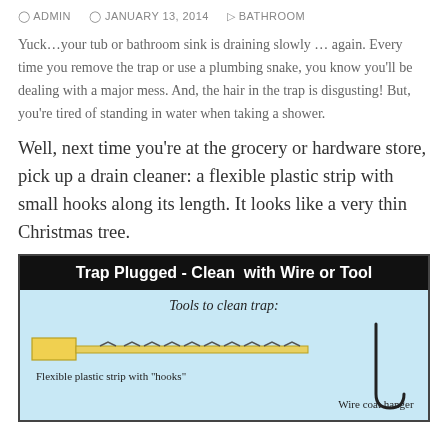ADMIN   JANUARY 13, 2014   BATHROOM
Yuck…your tub or bathroom sink is draining slowly … again. Every time you remove the trap or use a plumbing snake, you know you'll be dealing with a major mess. And, the hair in the trap is disgusting! But, you're tired of standing in water when taking a shower.
Well, next time you're at the grocery or hardware store, pick up a drain cleaner: a flexible plastic strip with small hooks along its length. It looks like a very thin Christmas tree.
[Figure (infographic): Infographic titled 'Trap Plugged - Clean with Wire or Tool' showing tools to clean a trap: a flexible plastic strip with hooks illustrated as a yellow-handled barbed strip, and a wire coat hanger illustrated as a bent wire hook shape.]